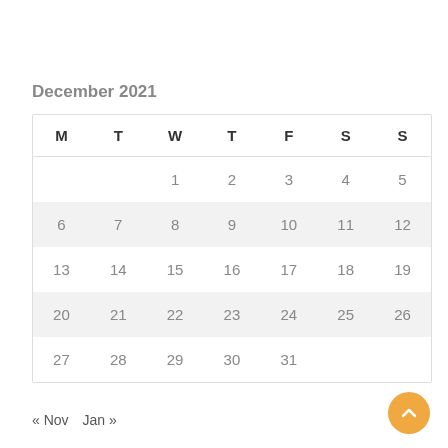December 2021
| M | T | W | T | F | S | S |
| --- | --- | --- | --- | --- | --- | --- |
|  |  | 1 | 2 | 3 | 4 | 5 |
| 6 | 7 | 8 | 9 | 10 | 11 | 12 |
| 13 | 14 | 15 | 16 | 17 | 18 | 19 |
| 20 | 21 | 22 | 23 | 24 | 25 | 26 |
| 27 | 28 | 29 | 30 | 31 |  |  |
« Nov   Jan »